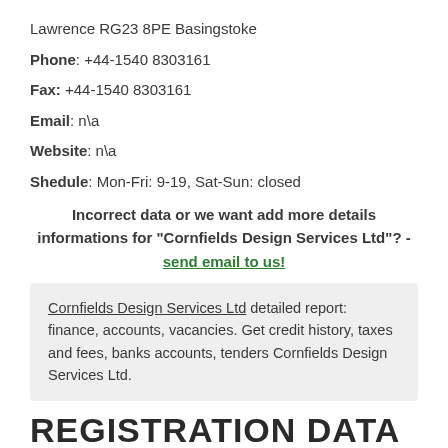Lawrence RG23 8PE Basingstoke
Phone: +44-1540 8303161
Fax: +44-1540 8303161
Email: n\a
Website: n\a
Shedule: Mon-Fri: 9-19, Sat-Sun: closed
Incorrect data or we want add more details informations for "Cornfields Design Services Ltd"? - send email to us!
Cornfields Design Services Ltd detailed report: finance, accounts, vacancies. Get credit history, taxes and fees, banks accounts, tenders Cornfields Design Services Ltd.
REGISTRATION DATA